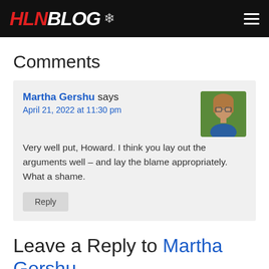HLNBLOG
Comments
Martha Gershu says
April 21, 2022 at 11:30 pm
Very well put, Howard. I think you lay out the arguments well – and lay the blame appropriately. What a shame.
Reply
Leave a Reply to Martha Gershu